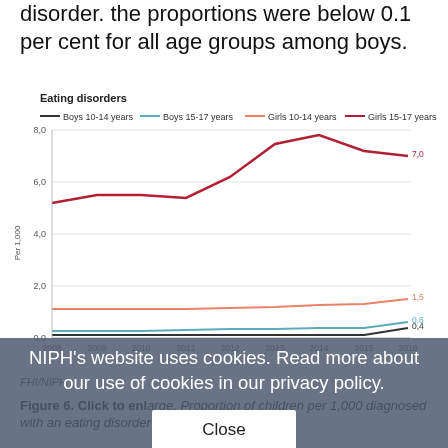disorder. the proportions were below 0.1 per cent for all age groups among boys.
[Figure (line-chart): Eating disorders]
FHI/NIPH
Figure 6. Click to enlarge. Proportion of children per 1,000 diagnosed with an eating disorder (ICD-10 code